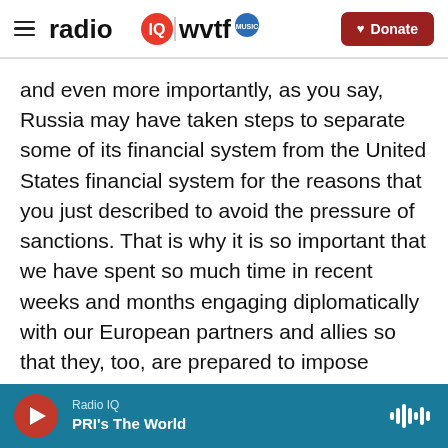radio IQ | wvtf MUSIC — Donate
and even more importantly, as you say, Russia may have taken steps to separate some of its financial system from the United States financial system for the reasons that you just described to avoid the pressure of sanctions. That is why it is so important that we have spent so much time in recent weeks and months engaging diplomatically with our European partners and allies so that they, too, are prepared to impose severe economic sanctions and export controls on Russia because their economy is so much more intertwined with the Russian economy. And the impact will be even
Radio IQ — PRI's The World